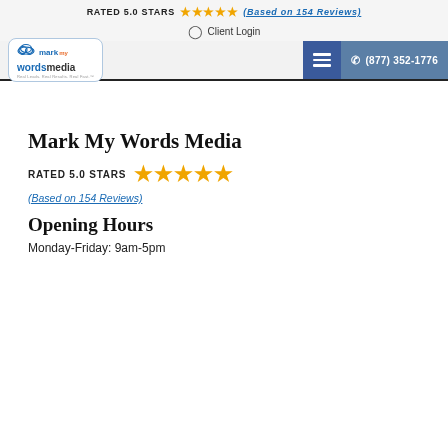RATED 5.0 STARS ★★★★★ (Based on 154 Reviews)
Client Login
[Figure (logo): Mark My Words Media logo with cloud icon, navigation hamburger menu button, and phone number button (877) 352-1776]
Mark My Words Media
RATED 5.0 STARS ★★★★★
(Based on 154 Reviews)
Opening Hours
Monday-Friday: 9am-5pm